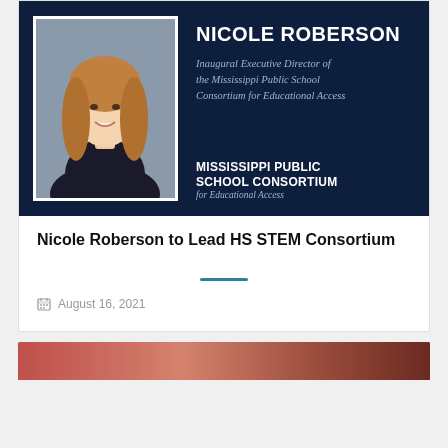[Figure (photo): Nicole Roberson headshot on dark navy background. Left side: professional photo of a young woman with long brown hair smiling, in a white frame. Right side: her name and title in white text, plus Mississippi Public School Consortium for Educational Access logo.]
Nicole Roberson to Lead HS STEM Consortium
August 16, 2021
[Figure (photo): Partial image visible at bottom of page, appears to be an outdoor/landscape photo with reddish tones.]